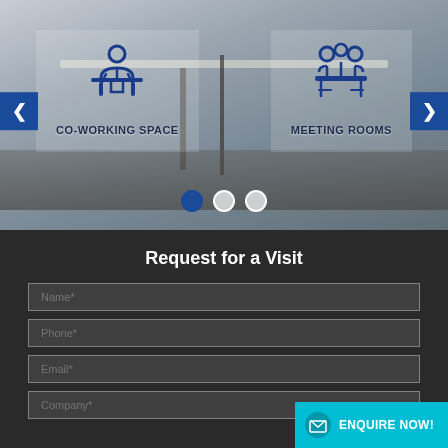[Figure (photo): Office co-working space slideshow with navigation arrows showing CO-WORKING SPACE and MEETING ROOMS icons overlaid on office photo background, with dot navigation indicators]
Request for a Visit
Name*
Phone*
Email*
Company*
ENQUIRE NOW!